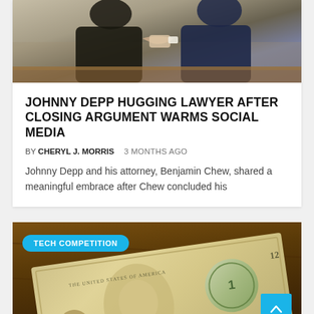[Figure (photo): Two men in suits shaking hands or embracing in what appears to be a courtroom or formal setting]
JOHNNY DEPP HUGGING LAWYER AFTER CLOSING ARGUMENT WARMS SOCIAL MEDIA
BY CHERYL J. MORRIS   3 MONTHS AGO
Johnny Depp and his attorney, Benjamin Chew, shared a meaningful embrace after Chew concluded his
[Figure (photo): Close-up of a US one dollar bill on a wooden surface with a TECH COMPETITION badge overlay]